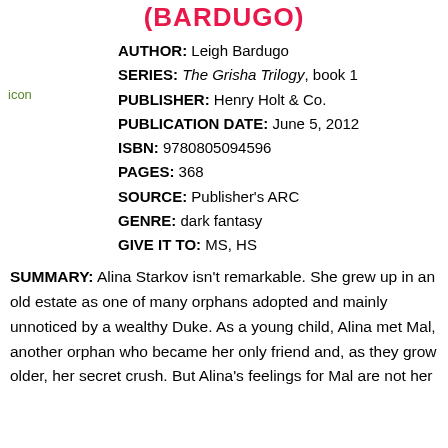(BARDUGO)
AUTHOR: Leigh Bardugo
SERIES: The Grisha Trilogy, book 1
PUBLISHER: Henry Holt & Co.
PUBLICATION DATE: June 5, 2012
ISBN: 9780805094596
PAGES: 368
SOURCE: Publisher's ARC
GENRE: dark fantasy
GIVE IT TO: MS, HS
[Figure (illustration): Book cover icon image]
SUMMARY: Alina Starkov isn't remarkable. She grew up in an old estate as one of many orphans adopted and mainly unnoticed by a wealthy Duke. As a young child, Alina met Mal, another orphan who became her only friend and, as they grow older, her secret crush. But Alina's feelings for Mal are not her